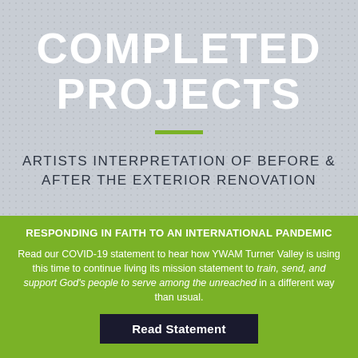COMPLETED PROJECTS
ARTISTS INTERPRETATION OF BEFORE & AFTER THE EXTERIOR RENOVATION
RESPONDING IN FAITH TO AN INTERNATIONAL PANDEMIC
Read our COVID-19 statement to hear how YWAM Turner Valley is using this time to continue living its mission statement to train, send, and support God's people to serve among the unreached in a different way than usual.
Read Statement